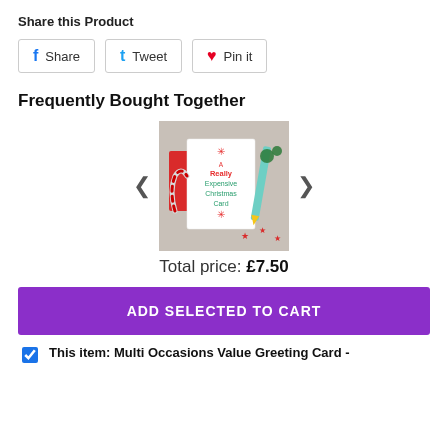Share this Product
Share | Tweet | Pin it
Frequently Bought Together
[Figure (photo): Product photo of a Christmas greeting card with red envelope and candy cane, text reads 'A Really Expensive Christmas Card' with snowflake decorations, shown with a pencil and holly decorations on a grey background.]
Total price: £7.50
ADD SELECTED TO CART
This item: Multi Occasions Value Greeting Card -